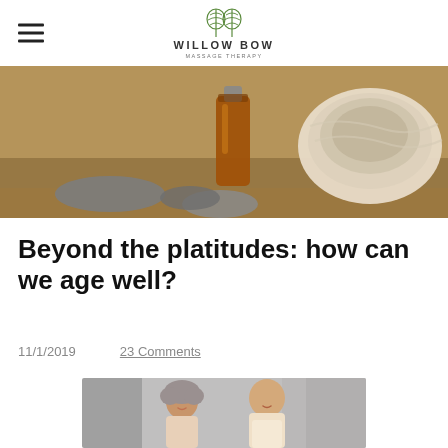WILLOW BOW MASSAGE THERAPY
[Figure (photo): Hero banner photo of massage therapy items: an amber essential oil bottle, dark smooth stones, and a rolled white towel on a wooden surface]
Beyond the platitudes: how can we age well?
11/1/2019
23 Comments
[Figure (photo): An elderly bald man and an elderly woman with curly grey hair smiling and laughing together against a grey background]